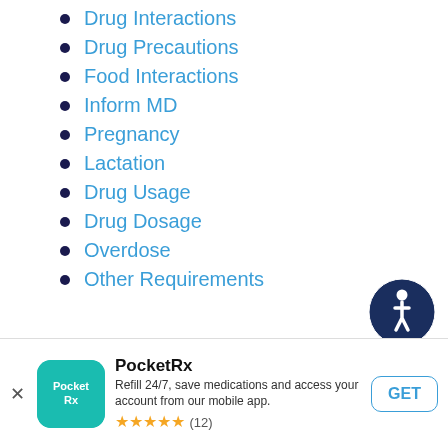Drug Interactions
Drug Precautions
Food Interactions
Inform MD
Pregnancy
Lactation
Drug Usage
Drug Dosage
Overdose
Other Requirements
[Figure (illustration): Accessibility icon: dark blue circle with white wheelchair-user figure]
Nardil Drug Class
PocketRx
Refill 24/7, save medications and access your account from our mobile app.
★★★★★ (12)